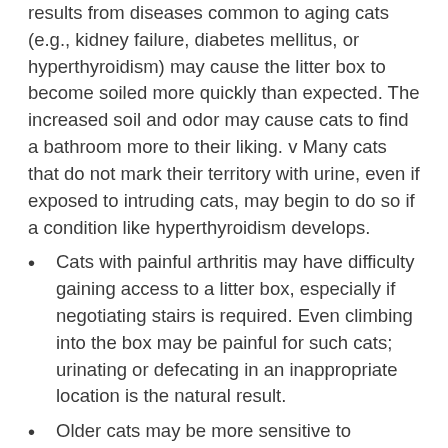results from diseases common to aging cats (e.g., kidney failure, diabetes mellitus, or hyperthyroidism) may cause the litter box to become soiled more quickly than expected. The increased soil and odor may cause cats to find a bathroom more to their liking. v Many cats that do not mark their territory with urine, even if exposed to intruding cats, may begin to do so if a condition like hyperthyroidism develops.
Cats with painful arthritis may have difficulty gaining access to a litter box, especially if negotiating stairs is required. Even climbing into the box may be painful for such cats; urinating or defecating in an inappropriate location is the natural result.
Older cats may be more sensitive to changes in the household since their ability to adapt to unfamiliar situations diminishes with age.